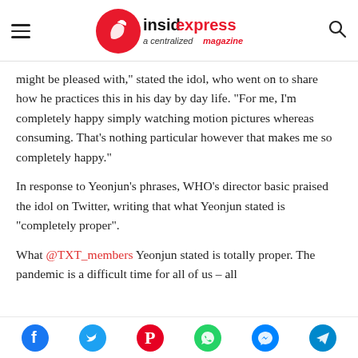insidexpress - a centralized magazine
might be pleased with," stated the idol, who went on to share how he practices this in his day by day life. "For me, I'm completely happy simply watching motion pictures whereas consuming. That's nothing particular however that makes me so completely happy."
In response to Yeonjun's phrases, WHO's director basic praised the idol on Twitter, writing that what Yeonjun stated is "completely proper".
What @TXT_members Yeonjun stated is totally proper. The pandemic is a difficult time for all of us – all
Social share icons: Facebook, Twitter, Pinterest, WhatsApp, Messenger, Telegram